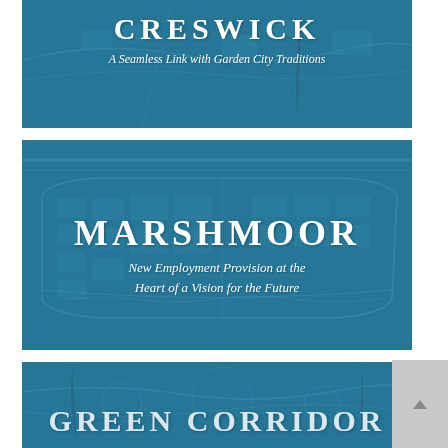CRESWICK
A Seamless Link with Garden City Traditions
[Figure (map): Aerial/plan view map of Creswick site with teal overlay]
MARSHMOOR
New Employment Provision at the Heart of a Vision for the Future
[Figure (map): Aerial/plan view map of Marshmoor site showing buildings and roads with teal overlay]
GREEN CORRIDOR
[Figure (map): Aerial/plan view map of Green Corridor site with teal overlay]